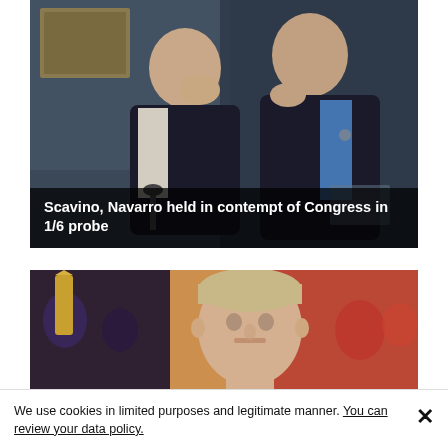[Figure (photo): Two men in dark suits at what appears to be a congressional hearing, one whispering to the other. Caption reads: Scavino, Navarro held in contempt of Congress in 1/6 probe]
Scavino, Navarro held in contempt of Congress in 1/6 probe
[Figure (photo): Close-up photo of a middle-aged man with gray-blonde hair, appearing to be at a public event.]
We use cookies in limited purposes and legitimate manner. You can review your data policy.